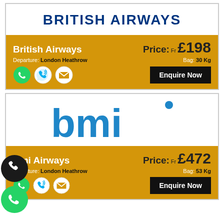[Figure (logo): British Airways logo with text]
British Airways  Price: Fr £198  Departure: London Heathrow  Bag: 30 Kg  Enquire Now
[Figure (logo): bmi Airways logo in blue]
Bmi Airways  Price: Fr £472  Departure: London Heathrow  Bag: 53 Kg  Enquire Now